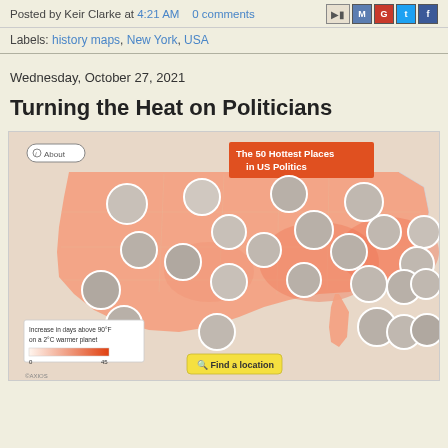Posted by Keir Clarke at 4:21 AM   0 comments
Labels: history maps, New York, USA
Wednesday, October 27, 2021
Turning the Heat on Politicians
[Figure (map): Interactive US map titled 'The 50 Hottest Places in US Politics' showing a heat map of the USA with circular politician photo markers placed at various locations across the country. The map uses an orange/red color gradient. A legend in the lower left shows 'Increase in days above 90°F on a 2°C warmer planet' with a scale from 0 to 45. A 'Find a location' search button appears at the bottom center. An 'i About' button appears in the upper left corner.]